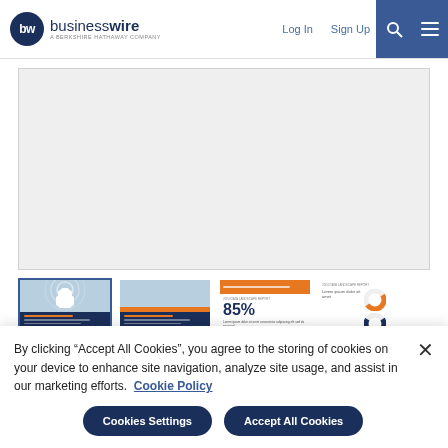businesswire - A BERKSHIRE HATHAWAY COMPANY | Log In | Sign Up
[Figure (screenshot): Main content image area (light gray placeholder)]
[Figure (photo): Thumbnail 1 - active, report cover with hand pointer icon]
[Figure (photo): Thumbnail 2 - report cover]
[Figure (photo): Thumbnail 3 - report page with 85% statistic]
[Figure (photo): Thumbnail 4 - report page with donut charts]
By clicking "Accept All Cookies", you agree to the storing of cookies on your device to enhance site navigation, analyze site usage, and assist in our marketing efforts.  Cookie Policy
Cookies Settings
Accept All Cookies